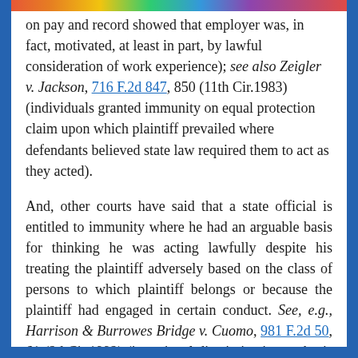on pay and record showed that employer was, in fact, motivated, at least in part, by lawful consideration of work experience); see also Zeigler v. Jackson, 716 F.2d 847, 850 (11th Cir.1983) (individuals granted immunity on equal protection claim upon which plaintiff prevailed where defendants believed state law required them to act as they acted).
And, other courts have said that a state official is entitled to immunity where he had an arguable basis for thinking he was acting lawfully despite his treating the plaintiff adversely based on the class of persons to which plaintiff belongs or because the plaintiff had engaged in certain conduct. See, e.g., Harrison & Burrowes Bridge v. Cuomo, 981 F.2d 50, 61 (2d Cir.1992) (intentional discrimination on basis of race not plainly unlawful); Henry v. Metropolitan Sewer Dist., 922 F.2d 332 (6th Cir.1990) (intentional discrimination on basis of union membership not